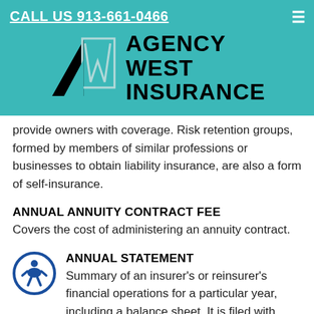CALL US 913-661-0466
[Figure (logo): Agency West Insurance logo with AW monogram icon and company name text]
provide owners with coverage. Risk retention groups, formed by members of similar professions or businesses to obtain liability insurance, are also a form of self-insurance.
ANNUAL ANNUITY CONTRACT FEE
Covers the cost of administering an annuity contract.
ANNUAL STATEMENT
Summary of an insurer's or reinsurer's financial operations for a particular year, including a balance sheet. It is filed with